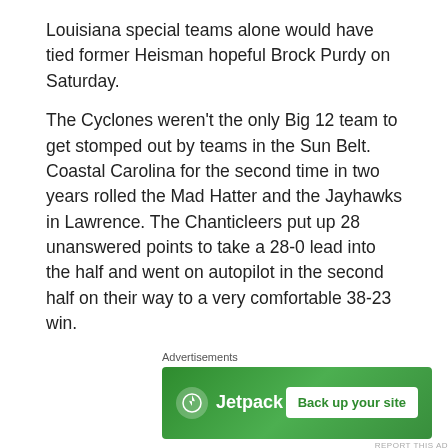Louisiana special teams alone would have tied former Heisman hopeful Brock Purdy on Saturday.
The Cyclones weren't the only Big 12 team to get stomped out by teams in the Sun Belt. Coastal Carolina for the second time in two years rolled the Mad Hatter and the Jayhawks in Lawrence. The Chanticleers put up 28 unanswered points to take a 28-0 lead into the half and went on autopilot in the second half on their way to a very comfortable 38-23 win.
[Figure (other): Jetpack advertisement banner with green background, Jetpack logo on left and 'Back up your site' button on right]
Luckily not everyone in Big 12 scheduled Sun Belt teams but one more unlucky member of the conference did schedule a game with a Sun Belt opponent and that was Kansas State. The best team in Arkansas – no that's